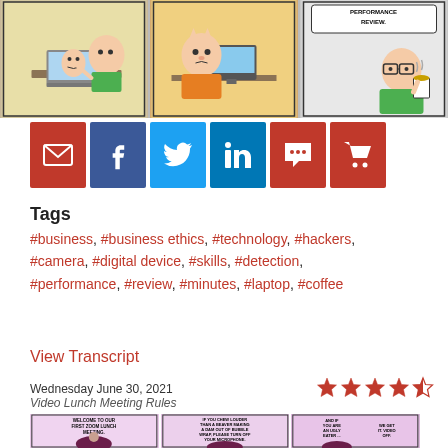[Figure (illustration): Three-panel Dilbert-style comic strip showing characters at computers, performance review scene]
[Figure (infographic): Social sharing buttons: email (red), facebook (dark blue), twitter (light blue), linkedin (blue), comment (red), cart (red)]
Tags
#business, #business ethics, #technology, #hackers, #camera, #digital device, #skills, #detection, #performance, #review, #minutes, #laptop, #coffee
View Transcript
Wednesday June 30, 2021
Video Lunch Meeting Rules
[Figure (illustration): Star rating: 4 out of 5 stars]
[Figure (illustration): Three-panel comic strip showing woman at zoom lunch meeting with bubble wrap and eating rules]